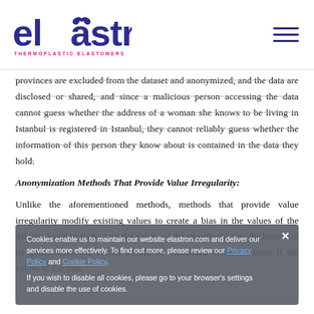Elastron Thermoplastic Elastomers
provinces are excluded from the dataset and anonymized, and the data are disclosed or shared, and since a malicious person accessing the data cannot guess whether the address of a woman she knows to be living in Istanbul is registered in Istanbul, they cannot reliably guess whether the information of this person they know about is contained in the data they hold.
Anonymization Methods That Provide Value Irregularity:
Unlike the aforementioned methods, methods that provide value irregularity modify existing values to create a bias in the values of the dataset. Since in such cases the values of the records change, the benefit to be gotten from the record should be calculated correctly. Even if the values in the data
Cookies enable us to maintain our website elastron.com and deliver our services more effectively. To find out more, please review our Privacy Policy and Cookie Policy.

If you wish to disable all cookies, please go to your browser's settings and disable the use of cookies.